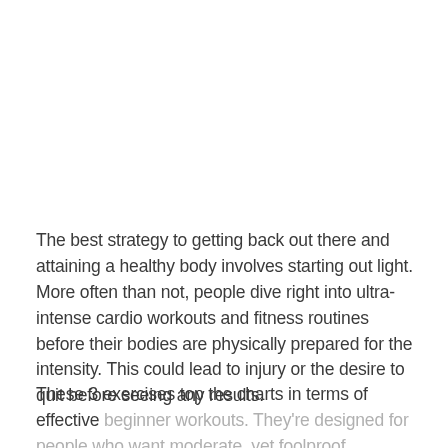The best strategy to getting back out there and attaining a healthy body involves starting out light. More often than not, people dive right into ultra-intense cardio workouts and fitness routines before their bodies are physically prepared for the intensity. This could lead to injury or the desire to quit before seeing any results.
These 3 exercises top the charts in terms of effective beginner workouts. They're designed for people who want moderate, yet foolproof workouts certain to yield